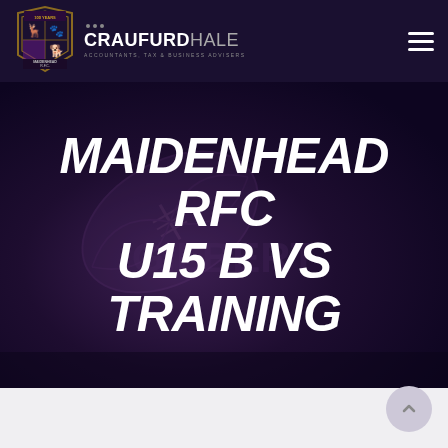Maidenhead RFC / Craufurd Hale header navigation bar
[Figure (logo): Maidenhead RFC club shield crest logo — 100 Years 1922-2022]
[Figure (logo): Craufurd Hale logo — Accountants, Tax & Business Advisers]
MAIDENHEAD RFC U15 B VS TRAINING
[Figure (photo): Dark purple hero background with rugby ball silhouette overlay]